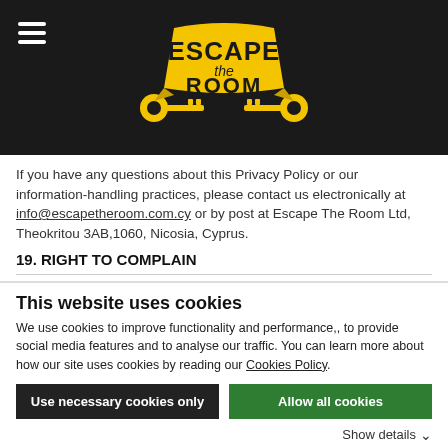[Figure (logo): Escape The Room logo in yellow on black background, with hamburger menu icon on the left]
If you have any questions about this Privacy Policy or our information-handling practices, please contact us electronically at info@escapetheroom.com.cy or by post at Escape The Room Ltd, Theokritou 3AB,1060, Nicosia, Cyprus.
19. RIGHT TO COMPLAIN
This website uses cookies
We use cookies to improve functionality and performance,, to provide social media features and to analyse our traffic. You can learn more about how our site uses cookies by reading our Cookies Policy.
Use necessary cookies only
Allow all cookies
Show details